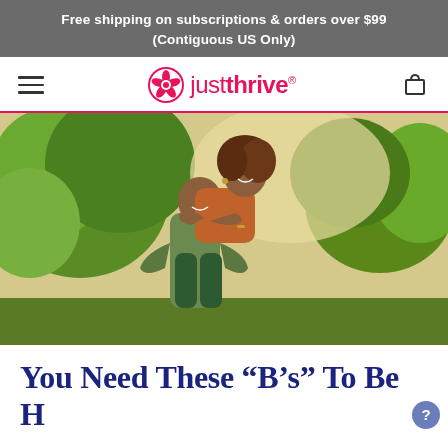Free shipping on subscriptions & orders over $99
(Contiguous US Only)
[Figure (logo): Just Thrive logo with leaf/flower icon and brand name in pink]
[Figure (photo): Happy couple outdoors, woman giving man a piggyback ride, smiling and laughing, greenery in background]
You Need These “B’s” To Be H…